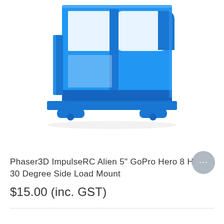[Figure (photo): A 3D-printed blue plastic GoPro camera mount with a rectangular frame structure and two small rounded feet at the bottom, photographed on a white background]
Phaser3D ImpulseRC Alien 5" GoPro Hero 8 Hero 30 Degree Side Load Mount
$15.00 (inc. GST)